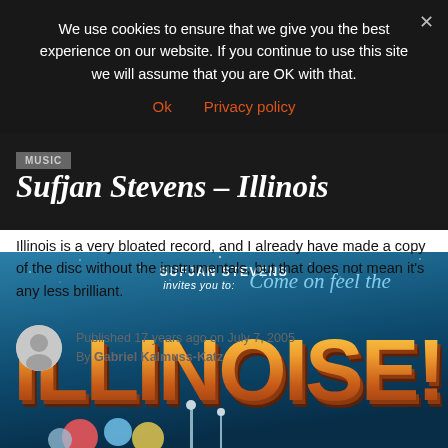We use cookies to ensure that we give you the best experience on our website. If you continue to use this site we will assume that you are OK with that.
Ok  Privacy policy
MUSIC
Sufjan Stevens – Illinois
Illinois is a very bloated record, and I already have made a copy of the disc without the instrumentals, but that does not mean it's any less brilliant.
Published 17 years ago on July 7, 2005
By Gabriel Kalmuss-Katz
[Figure (illustration): Album cover art for Sufjan Stevens' Illinois (Illinoise). Blue background with large 3D block letters reading 'ILLINOISE' in orange/yellow gradient with 3D effect. Top text reads 'SUFJAN STEVENS invites you to: Come on feel the' in white and light blue script. Decorative shapes at bottom.]